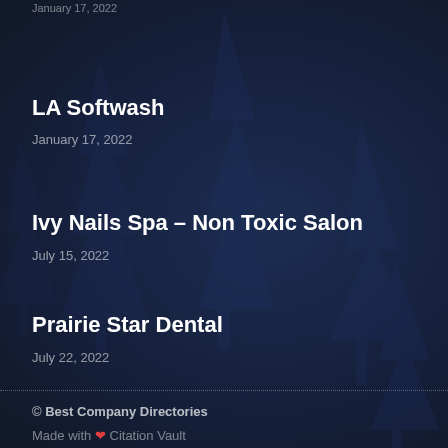January 17, 2022
LA Softwash
January 17, 2022
Ivy Nails Spa – Non Toxic Salon
July 15, 2022
Prairie Star Dental
July 22, 2022
© Best Company Directories
Made with ❤ Citation Vault